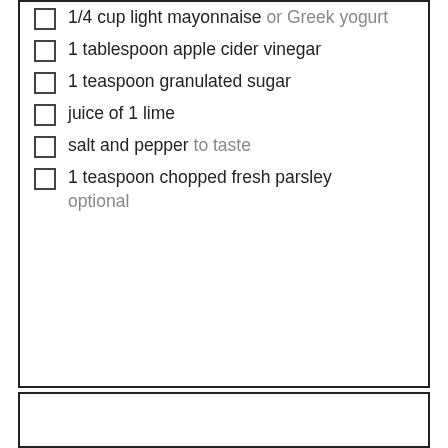1/4 cup light mayonnaise or Greek yogurt
1 tablespoon apple cider vinegar
1 teaspoon granulated sugar
juice of 1 lime
salt and pepper to taste
1 teaspoon chopped fresh parsley optional